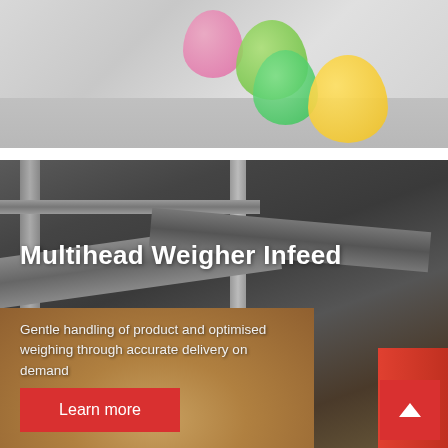[Figure (photo): Top portion showing colorful Easter egg-like spheres (green, pink, yellow) on a grey surface, blurred/soft focus]
[Figure (photo): Industrial multihead weigher infeed machinery — metal conveyor belts and chutes over a pile of small brown pellets, with a red bucket on the right side. Dark industrial setting.]
Multihead Weigher Infeed
Gentle handling of product and optimised weighing through accurate delivery on demand
Learn more